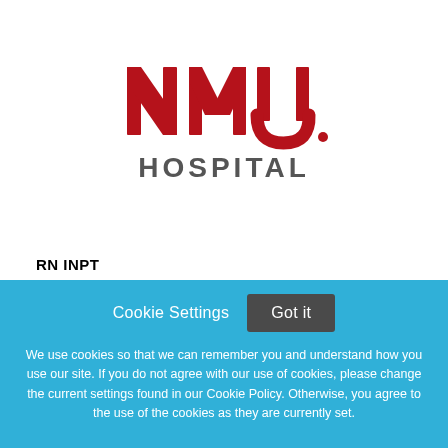[Figure (logo): UNM Hospital logo with interlocking NM letters in red and word HOSPITAL in gray below]
RN INPT
Cookie Settings
Got it
We use cookies so that we can remember you and understand how you use our site. If you do not agree with our use of cookies, please change the current settings found in our Cookie Policy. Otherwise, you agree to the use of the cookies as they are currently set.